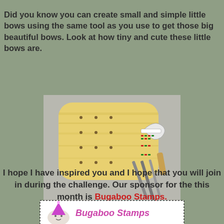Did you know you can create small and simple little bows using the same tool as you use to get those big beautiful bows. Look at how tiny and cute these little bows are.
[Figure (photo): A wooden bow-making board/tool with a decorative ribbon bow attached and metal rods/pins sticking out from the side, photographed on a white background.]
I hope I have inspired you and I hope that you will join in during the challenge.  Our sponsor for the this month is Bugaboo Stamps.
[Figure (logo): Bugaboo Stamps logo with a cartoon character wearing a party hat, dashed border, pink handwritten-style text reading 'Bugaboo Stamps']